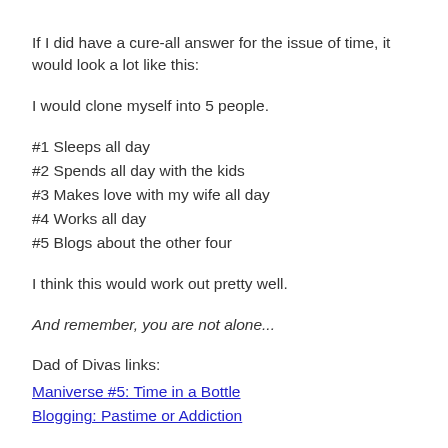If I did have a cure-all answer for the issue of time, it would look a lot like this:
I would clone myself into 5 people.
#1 Sleeps all day
#2 Spends all day with the kids
#3 Makes love with my wife all day
#4 Works all day
#5 Blogs about the other four
I think this would work out pretty well.
And remember, you are not alone...
Dad of Divas links:
Maniverse #5: Time in a Bottle
Blogging: Pastime or Addiction